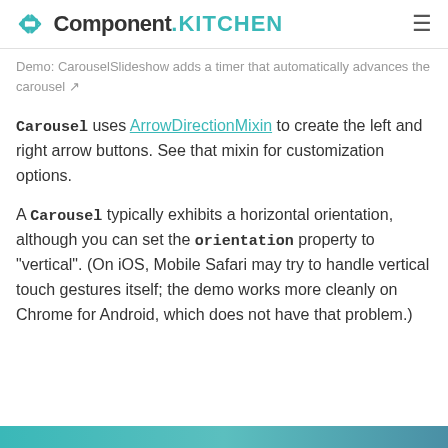<> Component.KITCHEN
Demo: CarouselSlideshow adds a timer that automatically advances the carousel ↗
Carousel uses ArrowDirectionMixin to create the left and right arrow buttons. See that mixin for customization options.
A Carousel typically exhibits a horizontal orientation, although you can set the orientation property to "vertical". (On iOS, Mobile Safari may try to handle vertical touch gestures itself; the demo works more cleanly on Chrome for Android, which does not have that problem.)
[Figure (other): Bottom colored strip / screenshot thumbnail at the bottom of the page]